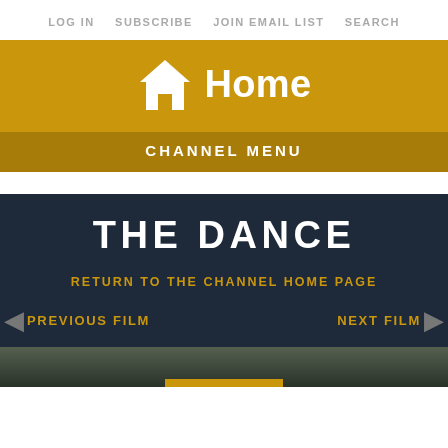LOG IN   SUBSCRIBE   JOIN EMAIL LIST   SEARCH
[Figure (screenshot): Yellow banner with white house icon and 'Home' text, with 'CHANNEL MENU' label below]
THE DANCE
RETURN TO THE CHANNEL HOME PAGE
PREVIOUS FILM
NEXT FILM
[Figure (photo): Bottom image strip showing dark outdoor scene with yellow bar overlay]